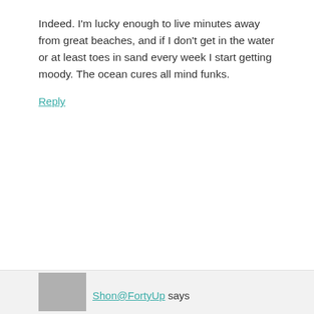Indeed. I'm lucky enough to live minutes away from great beaches, and if I don't get in the water or at least toes in sand every week I start getting moody. The ocean cures all mind funks.
Reply
[Figure (logo): BabyMac colorful logo with illustrated text]
Beth says
February 11, 2016 at 1:31 pm
Lucky you!
Reply
Shon@FortyUp says